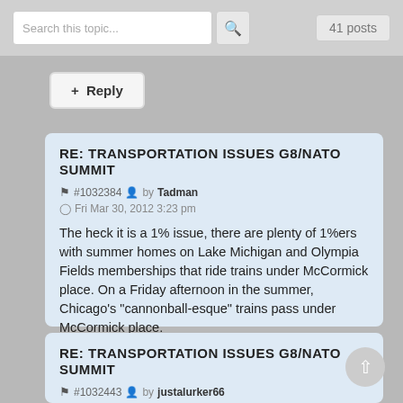Search this topic... | 41 posts
+ Reply
RE: TRANSPORTATION ISSUES G8/NATO SUMMIT
#1032384 by Tadman
Fri Mar 30, 2012 3:23 pm
The heck it is a 1% issue, there are plenty of 1%ers with summer homes on Lake Michigan and Olympia Fields memberships that ride trains under McCormick place. On a Friday afternoon in the summer, Chicago's "cannonball-esque" trains pass under McCormick place.
RE: TRANSPORTATION ISSUES G8/NATO SUMMIT
#1032443 by justalurker66
Fri Mar 30, 2012 7:56 pm